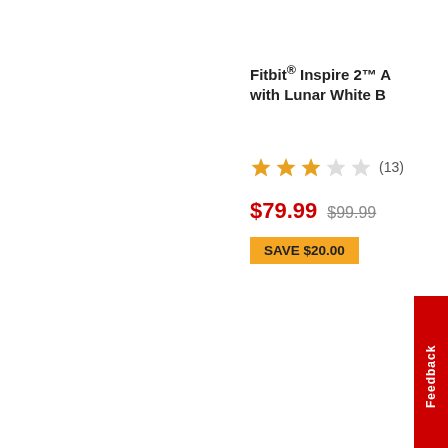Fitbit® Inspire 2™ A with Lunar White B
★★★☆☆ (13)
$79.99 $99.99
SAVE $20.00
Feedback
Add to Cart
PRODUCT DETAILS +
Add to Cart